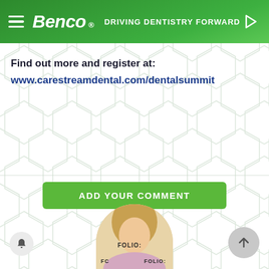Benco® — DRIVING DENTISTRY FORWARD
Find out more and register at:
www.carestreamdental.com/dentalsummit
[Figure (other): Green rounded rectangle button with white uppercase text: ADD YOUR COMMENT]
[Figure (photo): Partial photo of a blonde woman at a FOLIO: event, visible from shoulders up, circular crop, bottom of page]